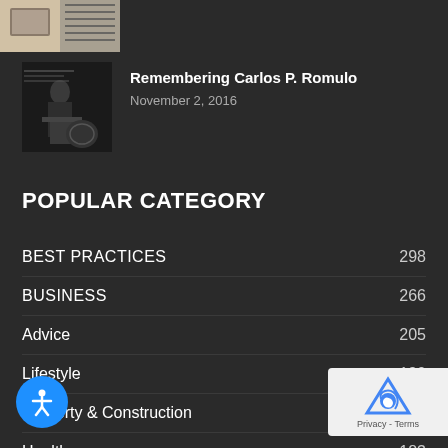[Figure (photo): Partial thumbnail image of a desk/book scene, cropped at top-left]
[Figure (photo): Black and white photo thumbnail of Carlos P. Romulo at a podium]
Remembering Carlos P. Romulo
November 2, 2016
POPULAR CATEGORY
BEST PRACTICES 298
BUSINESS 266
Advice 205
Lifestyle 190
Property & Construction 184
Health 183
me